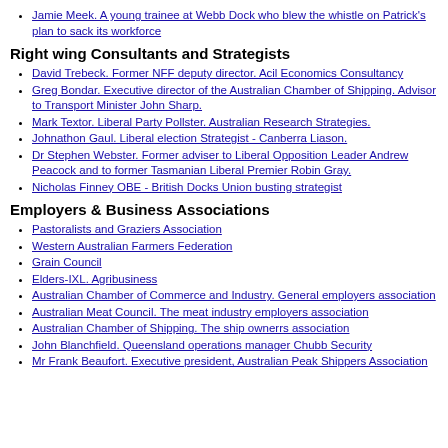Jamie Meek. A young trainee at Webb Dock who blew the whistle on Patrick's plan to sack its workforce
Right wing Consultants and Strategists
David Trebeck. Former NFF deputy director. Acil Economics Consultancy
Greg Bondar. Executive director of the Australian Chamber of Shipping. Advisor to Transport Minister John Sharp.
Mark Textor. Liberal Party Pollster. Australian Research Strategies.
Johnathon Gaul. Liberal election Strategist - Canberra Liason.
Dr Stephen Webster. Former adviser to Liberal Opposition Leader Andrew Peacock and to former Tasmanian Liberal Premier Robin Gray.
Nicholas Finney OBE - British Docks Union busting strategist
Employers & Business Associations
Pastoralists and Graziers Association
Western Australian Farmers Federation
Grain Council
Elders-IXL. Agribusiness
Australian Chamber of Commerce and Industry. General employers association
Australian Meat Council. The meat industry employers association
Australian Chamber of Shipping. The ship ownerrs association
John Blanchfield. Queensland operations manager Chubb Security
Mr Frank Beaufort. Executive president, Australian Peak Shippers Association